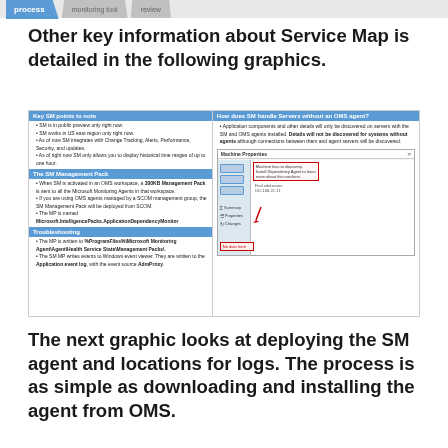process
Other key information about Service Map is detailed in the following graphics.
[Figure (infographic): Two-panel infographic. Left panel: Key SM points to note (blue header) with bullet points about SM being in public preview, US east region only, integrating with Change Tracking, Alerts, Performance, Security, updates, and historical time ranges up to one hour. The SM Management Pack section (blue header) describes a 300KB Management Pack sent to Microsoft Monitoring Agents, SCOM deployment, and the MP name Microsoft.IntelligencePacks.ApplicationDependencyMonitor. Troubleshooting section (blue header) lists MP file path and SM MP event log details. Right panel: How does SM handle Servers without an OMS agent? (blue header) with text about Application components and other details only being discovered on servers with SM and OMS agents installed, with Details will not be discovered for systems without agents in bold. A screenshot of Machine Properties UI is shown with sidebar navigation, red-highlighted text box, and a red arrow pointing to a bottom red-outlined box.]
The next graphic looks at deploying the SM agent and locations for logs. The process is as simple as downloading and installing the agent from OMS.